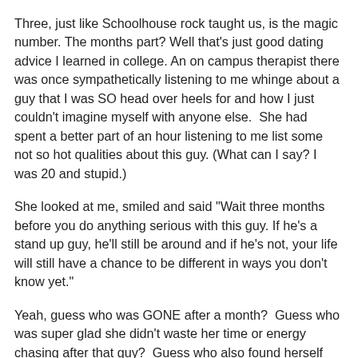Three, just like Schoolhouse rock taught us, is the magic number. The months part? Well that's just good dating advice I learned in college. An on campus therapist there was once sympathetically listening to me whinge about a guy that I was SO head over heels for and how I just couldn't imagine myself with anyone else.  She had spent a better part of an hour listening to me list some not so hot qualities about this guy. (What can I say? I was 20 and stupid.)
She looked at me, smiled and said "Wait three months before you do anything serious with this guy. If he's a stand up guy, he'll still be around and if he's not, your life will still have a chance to be different in ways you don't know yet."
Yeah, guess who was GONE after a month?  Guess who was super glad she didn't waste her time or energy chasing after that guy?  Guess who also found herself looking at the calendar one day three months later and realized "Damn, she was right. Things can be so radically different just in three months."